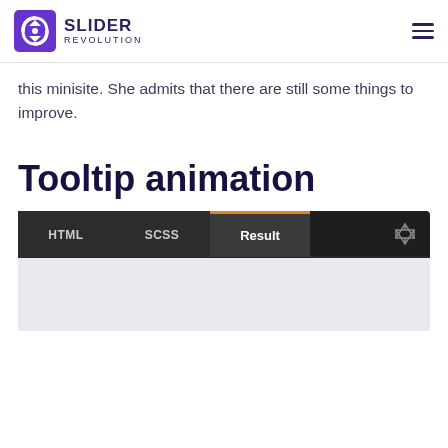SLIDER REVOLUTION
this minisite. She admits that there are still some things to improve.
Tooltip animation
[Figure (screenshot): CodePen embed with HTML, SCSS, Result tabs. Result tab is active with orange top border. Below tabs is a light gray preview area.]